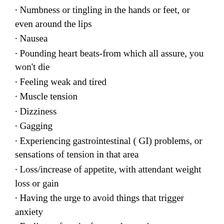· Numbness or tingling in the hands or feet, or even around the lips
· Nausea
· Pounding heart beats-from which all assure, you won't die
· Feeling weak and tired
· Muscle tension
· Dizziness
· Gagging
· Experiencing gastrointestinal ( GI) problems, or sensations of tension in that area
· Loss/increase of appetite, with attendant weight loss or gain
· Having the urge to avoid things that trigger anxiety
· Feelings of panic, fear, and uneasiness –